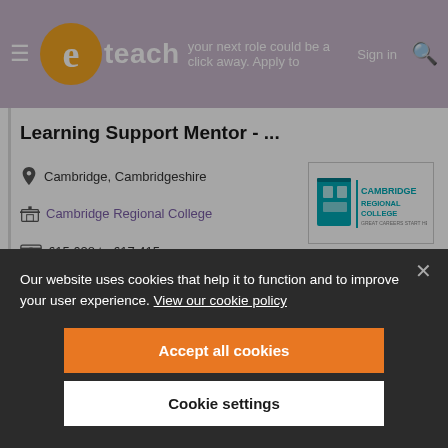eteach — Your next role could be a click away. Apply today. Sign in
Learning Support Mentor - ...
Cambridge, Cambridgeshire
Cambridge Regional College
£15,628 to £17,415 per annum
Permanent
[Figure (logo): Cambridge Regional College logo — teal building icon with CAMBRIDGE REGIONAL COLLEGE text]
Our website uses cookies that help it to function and to improve your user experience. View our cookie policy
Accept all cookies
Cookie settings